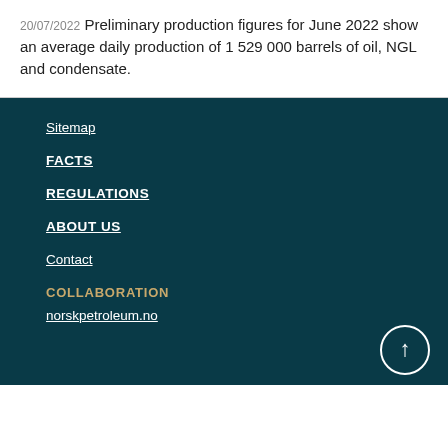20/07/2022 Preliminary production figures for June 2022 show an average daily production of 1 529 000 barrels of oil, NGL and condensate.
Sitemap
FACTS
REGULATIONS
ABOUT US
Contact
COLLABORATION
norskpetroleum.no